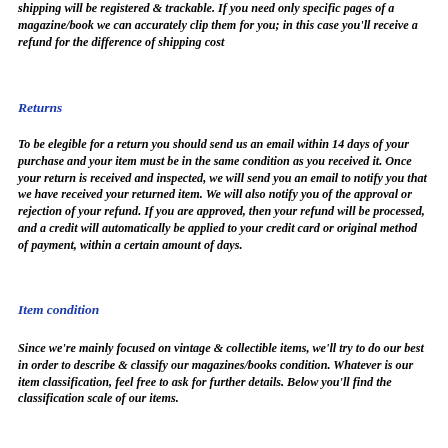shipping will be registered & trackable. If you need only specific pages of a magazine/book we can accurately clip them for you; in this case you'll receive a refund for the difference of shipping cost
Returns
To be elegible for a return you should send us an email within 14 days of your purchase and your item must be in the same condition as you received it. Once your return is received and inspected, we will send you an email to notify you that we have received your returned item. We will also notify you of the approval or rejection of your refund. If you are approved, then your refund will be processed, and a credit will automatically be applied to your credit card or original method of payment, within a certain amount of days.
Item condition
Since we're mainly focused on vintage & collectible items, we'll try to do our best in order to describe & classify our magazines/books condition. Whatever is our item classification, feel free to ask for further details. Below you'll find the classification scale of our items.